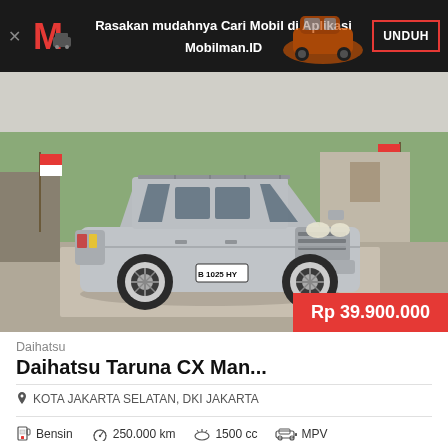Rasakan mudahnya Cari Mobil di Aplikasi Mobilman.ID  UNDUH
[Figure (photo): Silver Daihatsu Taruna CX SUV parked on a paved area, license plate B 1025 HY, with red-green decorative flags in the background and trees/vegetation. Price badge: Rp 39.900.000]
Daihatsu
Daihatsu Taruna CX Man...
KOTA JAKARTA SELATAN, DKI JAKARTA
Bensin  250.000 km  1500 cc  MPV